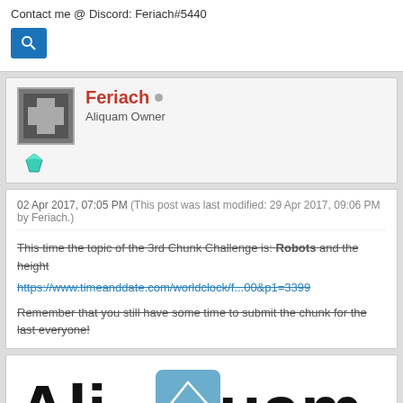Contact me @ Discord: Feriach#5440
[Figure (other): Blue search button with magnifying glass icon]
Feriach  Aliquam Owner
[Figure (other): Row of teal/green gem icons (10 gems)]
02 Apr 2017, 07:05 PM (This post was last modified: 29 Apr 2017, 09:06 PM by Feriach.)
This time the topic of the 3rd Chunk Challenge is: Robots and the height... https://www.timeanddate.com/worldclock/f...00&p1=3399  Remember that you still have some time to submit the chunk for the last... everyone!
[Figure (logo): AliQuam logo with blue Q containing geometric triangle design]
Server Co-owner | Public Relations Manager